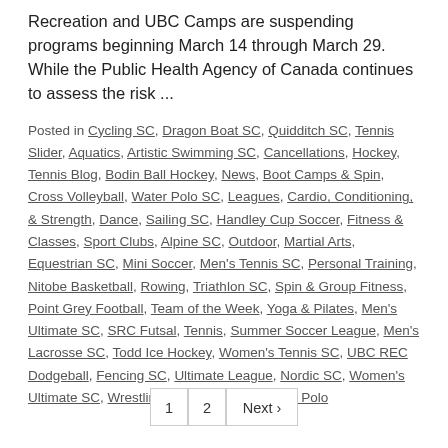Recreation and UBC Camps are suspending programs beginning March 14 through March 29. While the Public Health Agency of Canada continues to assess the risk ...
Posted in Cycling SC, Dragon Boat SC, Quidditch SC, Tennis Slider, Aquatics, Artistic Swimming SC, Cancellations, Hockey, Tennis Blog, Bodin Ball Hockey, News, Boot Camps & Spin, Cross Volleyball, Water Polo SC, Leagues, Cardio, Conditioning, & Strength, Dance, Sailing SC, Handley Cup Soccer, Fitness & Classes, Sport Clubs, Alpine SC, Outdoor, Martial Arts, Equestrian SC, Mini Soccer, Men's Tennis SC, Personal Training, Nitobe Basketball, Rowing, Triathlon SC, Spin & Group Fitness, Point Grey Football, Team of the Week, Yoga & Pilates, Men's Ultimate SC, SRC Futsal, Tennis, Summer Soccer League, Men's Lacrosse SC, Todd Ice Hockey, Women's Tennis SC, UBC REC Dodgeball, Fencing SC, Ultimate League, Nordic SC, Women's Ultimate SC, Wrestling SC, Inner Tube Water Polo
1
2
Next >